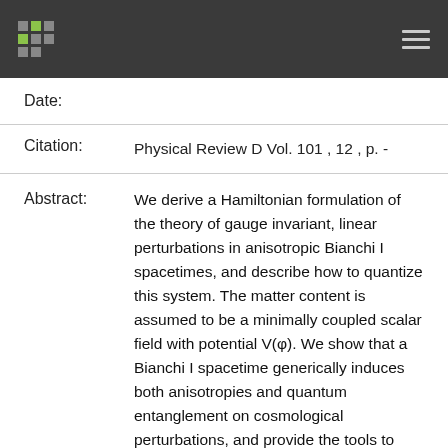[logo] [hamburger menu]
Date:
Citation: Physical Review D Vol. 101 , 12 , p. -
Abstract: We derive a Hamiltonian formulation of the theory of gauge invariant, linear perturbations in anisotropic Bianchi I spacetimes, and describe how to quantize this system. The matter content is assumed to be a minimally coupled scalar field with potential V(φ). We show that a Bianchi I spacetime generically induces both anisotropies and quantum entanglement on cosmological perturbations, and provide the tools to compute the details of these features. We then apply this formalism to a scenario in which the inflationary era is preceded by an anisotropic Bianchi I phase, and discuss the potential imprints in observable quantities. The formalism developed here paves the road to a simultaneous canonical quantization of both the homogeneous degrees of freedom and